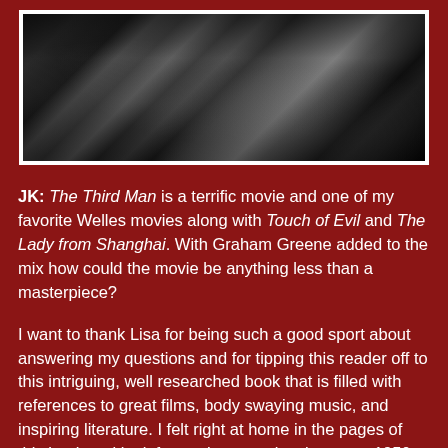[Figure (photo): Black and white still from The Third Man movie, showing a dark scene with stone ruins and a figure in shadows]
JK: The Third Man is a terrific movie and one of my favorite Welles movies along with Touch of Evil and The Lady from Shanghai. With Graham Greene added to the mix how could the movie be anything less than a masterpiece?
I want to thank Lisa for being such a good sport about answering my questions and for tipping this reader off to this intriguing, well researched book that is filled with references to great films, body swaying music, and inspiring literature. I felt right at home in the pages of this book and look forward to experiencing more 1950s Hollywood as Cara finds herself on location in Budapest.
Do check out Lisa's website at: http://dontblogname...